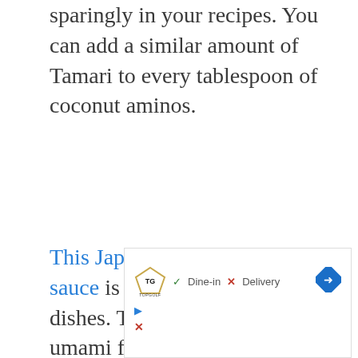sparingly in your recipes. You can add a similar amount of Tamari to every tablespoon of coconut aminos.
This Japanese fermented soy sauce is used in many Asian dishes. This sauce has a distinct umami flavor, great with seafood, stews and soups. Bottled Tamari is generally free of wheat and can be used as a
[Figure (screenshot): Advertisement box for Topgolf showing logo, Dine-in with checkmark, Delivery with X mark, and a navigation arrow icon. Below shows a play button icon and an X/close icon.]